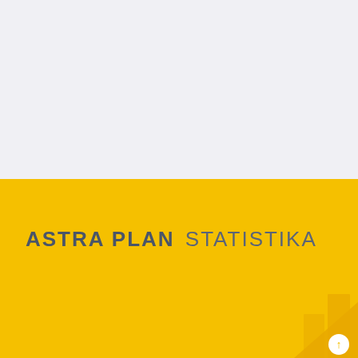[Figure (illustration): Cover page with light gray top half and yellow bottom half, with a decorative bar chart icon in the bottom right corner]
ASTRA PLAN STATISTIKA